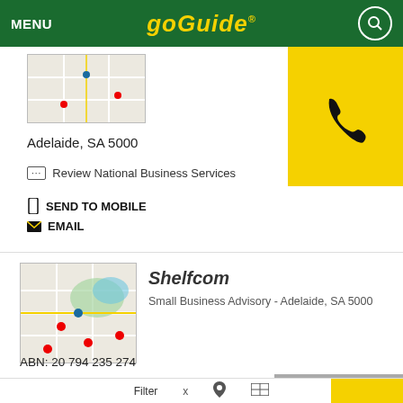MENU | GoGuide
[Figure (map): Map thumbnail showing street grid with red markers]
Adelaide, SA 5000
Review National Business Services
SEND TO MOBILE
EMAIL
Shelfcom
Small Business Advisory - Adelaide, SA 5000
[Figure (map): Map thumbnail showing street grid with Adelaide location and red markers]
ABN: 20 794 235 274
Report an issue
4th Floor 80 King William St  Adelaide, SA 5000
Filter  x  [location pin]  [map]